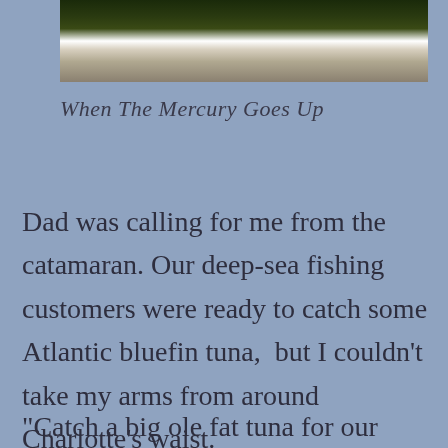[Figure (photo): Partial photograph showing a rocky or bushy coastline/landscape, dark vegetation and light-colored rocks or sand at the top of the page.]
When The Mercury Goes Up
Dad was calling for me from the catamaran. Our deep-sea fishing customers were ready to catch some Atlantic bluefin tuna,  but I couldn't take my arms from around Charlotte's waist.
“Catch a big ole fat tuna for our